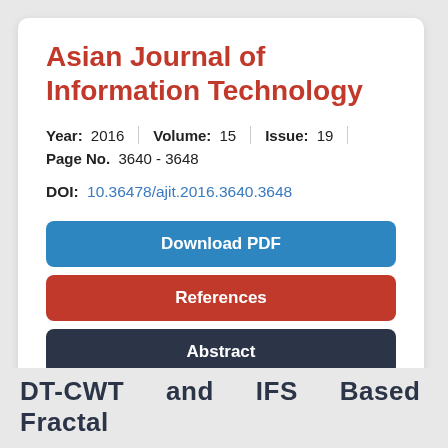Asian Journal of Information Technology
Year: 2016  Volume: 15  Issue: 19
Page No. 3640 - 3648
DOI: 10.36478/ajit.2016.3640.3648
Download PDF
References
Abstract
DT-CWT and IFS Based Fractal